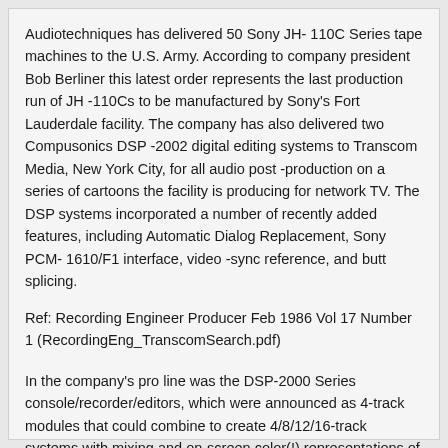Audiotechniques has delivered 50 Sony JH- 110C Series tape machines to the U.S. Army. According to company president Bob Berliner this latest order represents the last production run of JH -110Cs to be manufactured by Sony's Fort Lauderdale facility. The company has also delivered two Compusonics DSP -2002 digital editing systems to Transcom Media, New York City, for all audio post -production on a series of cartoons the facility is producing for network TV. The DSP systems incorporated a number of recently added features, including Automatic Dialog Replacement, Sony PCM- 1610/F1 interface, video -sync reference, and butt splicing.
Ref: Recording Engineer Producer Feb 1986 Vol 17 Number 1 (RecordingEng_TranscomSearch.pdf)
In the company's pro line was the DSP-2000 Series console/recorder/editors, which were announced as 4-track modules that could combine to create 4/8/12/16-track systems with mixing and on-screen color(!) representations of metering, mix levels and parameters — pretty cool for 1984. Perhaps more successful was CompuSonics DSP-2000 disk